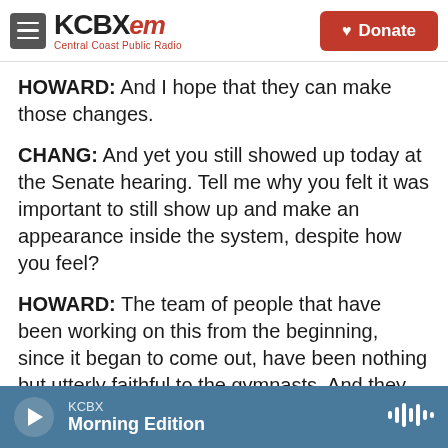KCBX FM — Central Coast Public Radio | Donate
HOWARD: And I hope that they can make those changes.
CHANG: And yet you still showed up today at the Senate hearing. Tell me why you felt it was important to still show up and make an appearance inside the system, despite how you feel?
HOWARD: The team of people that have been working on this from the beginning, since it began to come out, have been nothing but utterly faithful to the gymnasts. And they have kept their promises, and they have shown us that this is not
KCBX — Morning Edition